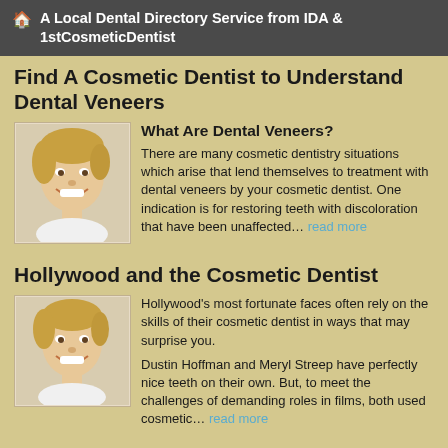🏠 A Local Dental Directory Service from IDA & 1stCosmeticDentist
Find A Cosmetic Dentist to Understand Dental Veneers
What Are Dental Veneers?
[Figure (photo): Smiling woman with short blonde hair]
There are many cosmetic dentistry situations which arise that lend themselves to treatment with dental veneers by your cosmetic dentist. One indication is for restoring teeth with discoloration that have been unaffected... read more
Hollywood and the Cosmetic Dentist
[Figure (photo): Smiling woman with short blonde hair]
Hollywood's most fortunate faces often rely on the skills of their cosmetic dentist in ways that may surprise you. Dustin Hoffman and Meryl Streep have perfectly nice teeth on their own. But, to meet the challenges of demanding roles in films, both used cosmetic... read more